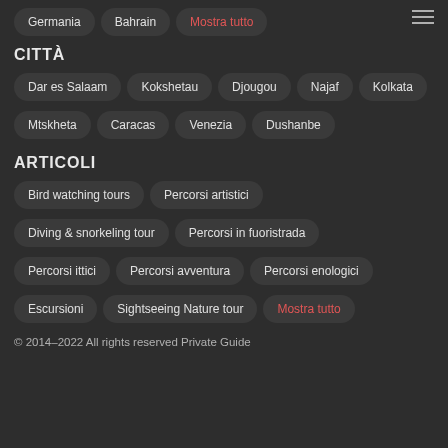Germania
Bahrain
Mostra tutto
CITTÀ
Dar es Salaam
Kokshetau
Djougou
Najaf
Kolkata
Mtskheta
Caracas
Venezia
Dushanbe
ARTICOLI
Bird watching tours
Percorsi artistici
Diving & snorkeling tour
Percorsi in fuoristrada
Percorsi ittici
Percorsi avventura
Percorsi enologici
Escursioni
Sightseeing Nature tour
Mostra tutto
© 2014–2022 All rights reserved Private Guide